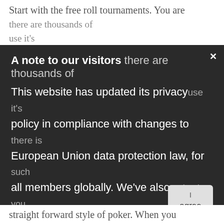Start with the free roll tournaments. You are
A note to our visitors
This website has updated its privacy policy in compliance with changes to European Union data protection law, for all members globally. We've also updated our Privacy Policy to give you more information about your rights and responsibilities with respect to your privacy and personal information. Please read this to review the updates about which cookies we use and what information we collect on our site. By continuing to use this site, you are agreeing to our updated priv...
straight forward style of poker. When you